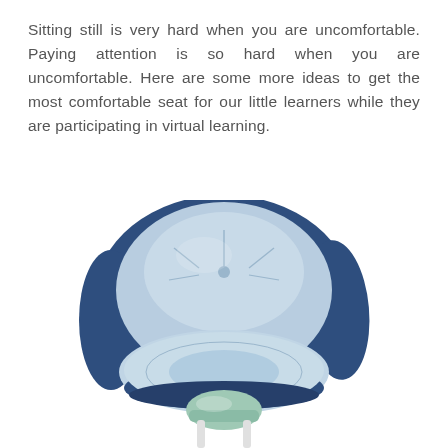Sitting still is very hard when you are uncomfortable. Paying attention is so hard when you are uncomfortable. Here are some more ideas to get the most comfortable seat for our little learners while they are participating in virtual learning.
[Figure (photo): A padded blue and light grey chair cushion with back support — a semi-enclosed cushioned seat — shown from the front on a white background.]
[Figure (photo): Partial view of a small stool with a light green/mint cushioned seat and white legs, visible at the bottom of the page.]